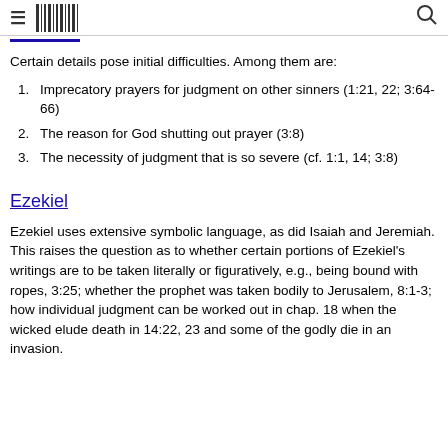≡ [barcode icon] 🔍
Certain details pose initial difficulties. Among them are:
Imprecatory prayers for judgment on other sinners (1:21, 22; 3:64-66)
The reason for God shutting out prayer (3:8)
The necessity of judgment that is so severe (cf. 1:1, 14; 3:8)
Ezekiel
Ezekiel uses extensive symbolic language, as did Isaiah and Jeremiah. This raises the question as to whether certain portions of Ezekiel's writings are to be taken literally or figuratively, e.g., being bound with ropes, 3:25; whether the prophet was taken bodily to Jerusalem, 8:1-3; how individual judgment can be worked out in chap. 18 when the wicked elude death in 14:22, 23 and some of the godly die in an invasion.